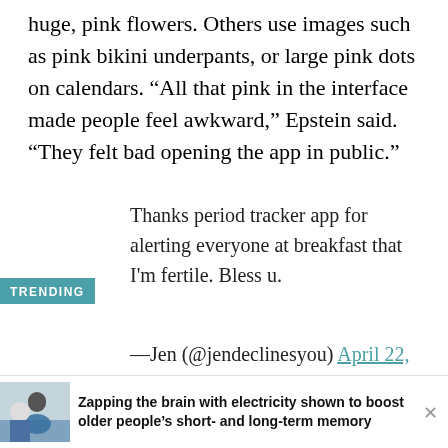huge, pink flowers. Others use images such as pink bikini underpants, or large pink dots on calendars. “All that pink in the interface made people feel awkward,” Epstein said. “They felt bad opening the app in public.”
Thanks period tracker app for alerting everyone at breakfast that I'm fertile. Bless u.
—Jen (@jendeclinesyou) April 22, 2017
TRENDING
Zapping the brain with electricity shown to boost older people’s short- and long-term memory